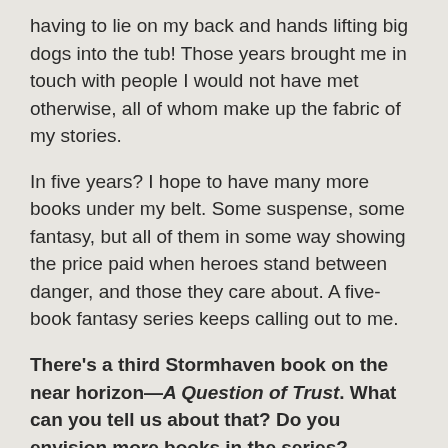having to lie on my back and hands lifting big dogs into the tub! Those years brought me in touch with people I would not have met otherwise, all of whom make up the fabric of my stories.
In five years? I hope to have many more books under my belt. Some suspense, some fantasy, but all of them in some way showing the price paid when heroes stand between danger, and those they care about. A five-book fantasy series keeps calling out to me.
There's a third Stormhaven book on the near horizon—A Question of Trust. What can you tell us about that? Do you envision more books in the series?
When I wrote A Question of Honor, I portrayed Sydney's sister Lana without conscience. After a while, I started asking myself why. Why did Lana do what she did, or what people thought she did? Everyone has reasons for